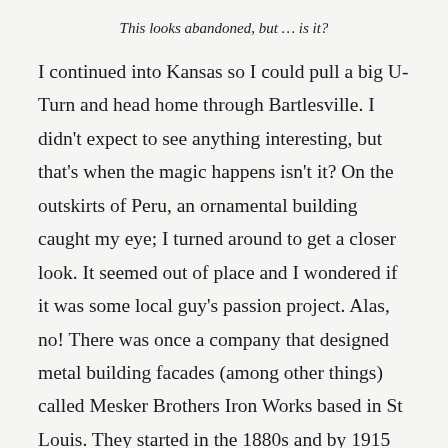This looks abandoned, but … is it?
I continued into Kansas so I could pull a big U-Turn and head home through Bartlesville. I didn't expect to see anything interesting, but that's when the magic happens isn't it? On the outskirts of Peru, an ornamental building caught my eye; I turned around to get a closer look. It seemed out of place and I wondered if it was some local guy's passion project. Alas, no! There was once a company that designed metal building facades (among other things) called Mesker Brothers Iron Works based in St Louis. They started in the 1880s and by 1915 claimed to have fabricated storefronts in every state. From what I can tell, they went out of business in the 1950s/60s but there are still over 100 scattered throughout the Sunflower State and thousands around